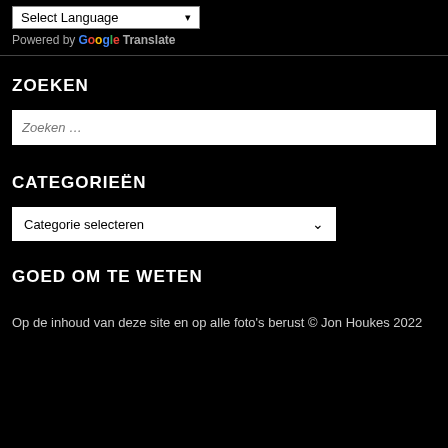Select Language — Powered by Google Translate
ZOEKEN
Zoeken …
CATEGORIEËN
Categorie selecteren
GOED OM TE WETEN
Op de inhoud van deze site en op alle foto's berust © Jon Houkes 2022